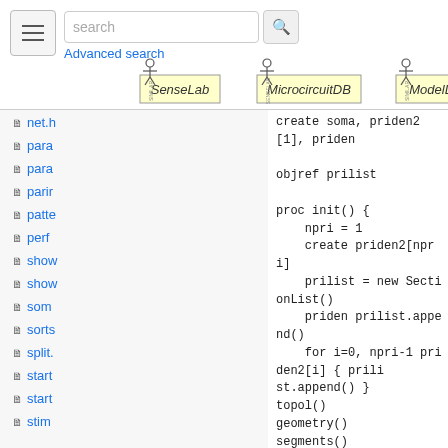[Figure (screenshot): Search bar with hamburger menu icon, search input field with placeholder 'search', and a magnifying glass button]
Advanced search
[Figure (logo): Three logos: SenseLab, MicrocircuitDB, ModelDB]
net.h
para
para
parir
patte
perf
show
show
som
sorts
split.
start
start
stim
create soma, priden2[1], priden

objref prilist

proc init() {
    npri = 1
    create priden2[npri]
    prilist = new SectionList()
    priden prilist.append()
    for i=0, npri-1 priden2[i] { prili
st.append() }
topol()
geometry()
segments()
memb()
    x = y = z = 0 // only change via p
osition
}